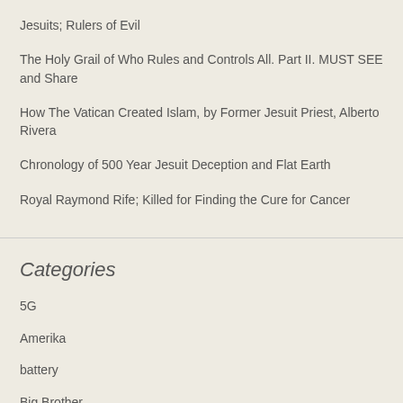Jesuits; Rulers of Evil
The Holy Grail of Who Rules and Controls All. Part II. MUST SEE and Share
How The Vatican Created Islam, by Former Jesuit Priest, Alberto Rivera
Chronology of 500 Year Jesuit Deception and Flat Earth
Royal Raymond Rife; Killed for Finding the Cure for Cancer
Categories
5G
Amerika
battery
Big Brother
big pharma